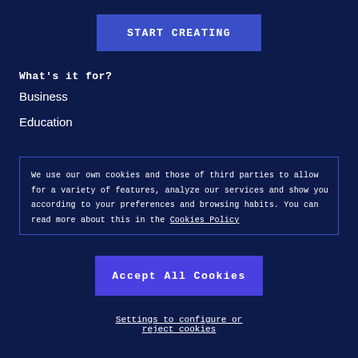START CREATING
What's it for?
Business
Education
We use our own cookies and those of third parties to allow for a variety of features, analyze our services and show you according to your preferences and browsing habits. You can read more about this in the Cookies Policy
Accept All Cookies
Settings to configure or reject cookies